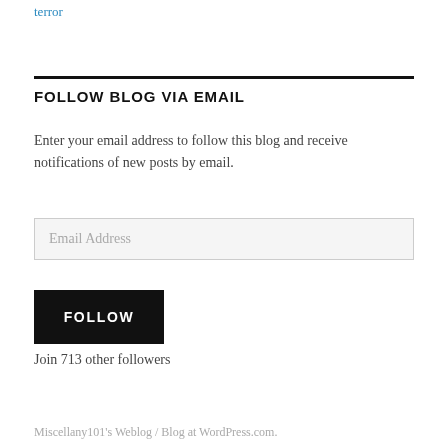terror
FOLLOW BLOG VIA EMAIL
Enter your email address to follow this blog and receive notifications of new posts by email.
Email Address
FOLLOW
Join 713 other followers
Miscellany101's Weblog / Blog at WordPress.com.